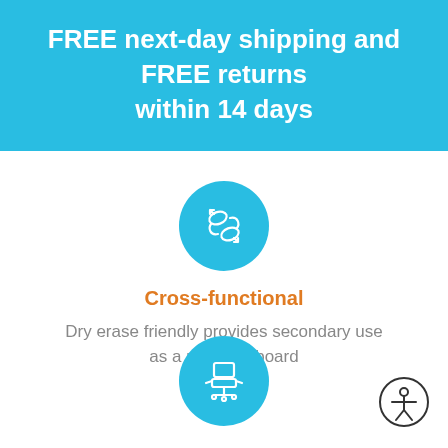FREE next-day shipping and FREE returns within 14 days
[Figure (illustration): Cyan circle icon with white hand/exchange gesture illustration representing cross-functional use]
Cross-functional
Dry erase friendly provides secondary use as a planning board
[Figure (illustration): Cyan circle icon with white office chair illustration]
[Figure (illustration): Accessibility icon - person in circle outline]